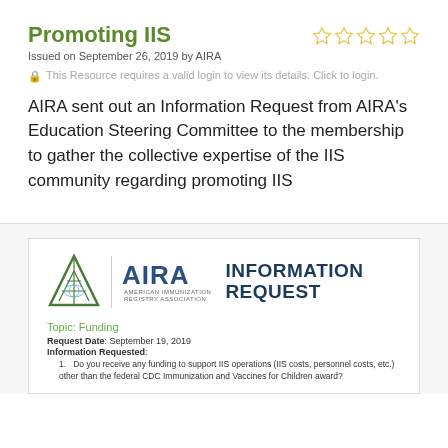Promoting IIS
Issued on September 26, 2019 by AIRA
This Resource requires a valid login to view its details. Click to login.
AIRA sent out an Information Request from AIRA's Education Steering Committee to the membership to gather the collective expertise of the IIS community regarding promoting IIS
[Figure (logo): AIRA (American Immunization Registry Association) logo with triangle graphic, alongside INFORMATION REQUEST header text]
Topic: Funding
Request Date: September 19, 2019
Information Requested:
Do you receive any funding to support IIS operations (IIS costs, personnel costs, etc.) other than the federal CDC Immunization and Vaccines for Children award?